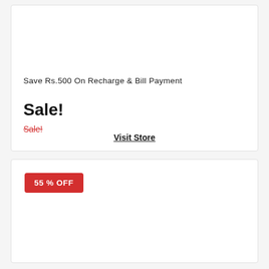Save Rs.500 On Recharge & Bill Payment
Sale!
Sale!
Visit Store
55 % OFF